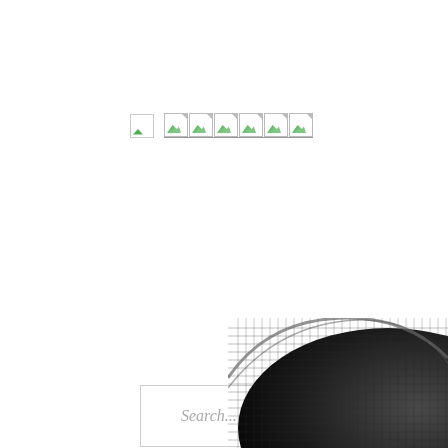[Figure (screenshot): Broken image placeholder icons: one small standalone icon on the left and a row of six icons with underline on the right, typical of a webpage with missing/unloaded images]
Search...
BMW C 650
Systems
[Figure (photo): Partial view of a dark carbon-fiber textured motorcycle component (likely BMW C 650 scooter body panel), visible in the bottom right corner]